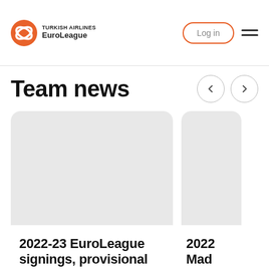Turkish Airlines EuroLeague — Log in
Team news
[Figure (screenshot): Gray placeholder image for news card 1]
2022-23 EuroLeague signings, provisional rosters
[Figure (screenshot): Gray placeholder image for news card 2 (partially visible)]
2022 Mad